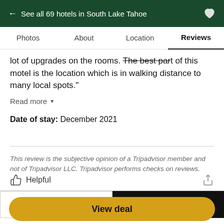← See all 69 hotels in South Lake Tahoe
Photos   About   Location   Reviews
lot of upgrades on the rooms. The best part of this motel is the location which is in walking distance to many local spots."
Read more ▾
Date of stay: December 2021
This review is the subjective opinion of a Tripadvisor member and not of Tripadvisor LLC. Tripadvisor performs checks on reviews.
Helpful
Previous   Next
Booking.com   $100  $86
View deal